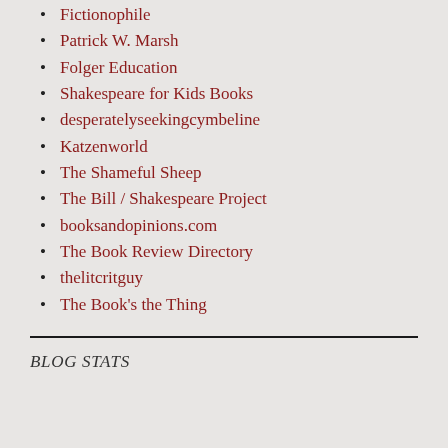Fictionophile
Patrick W. Marsh
Folger Education
Shakespeare for Kids Books
desperatelyseekingcymbeline
Katzenworld
The Shameful Sheep
The Bill / Shakespeare Project
booksandopinions.com
The Book Review Directory
thelitcritguy
The Book's the Thing
BLOG STATS